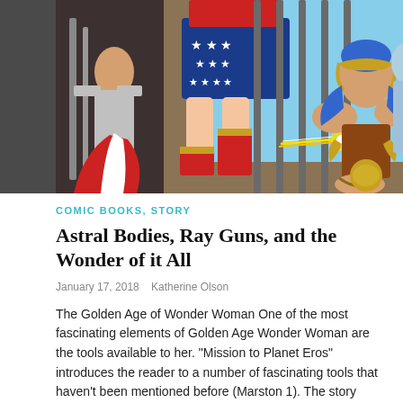[Figure (illustration): Comic book illustration showing Wonder Woman in her star-spangled costume fighting a large muscular figure through prison bars, with dynamic action poses and classic Golden Age comic art style.]
COMIC BOOKS, STORY
Astral Bodies, Ray Guns, and the Wonder of it All
January 17, 2018   Katherine Olson
The Golden Age of Wonder Woman One of the most fascinating elements of Golden Age Wonder Woman are the tools available to her. "Mission to Planet Eros" introduces the reader to a number of fascinating tools that haven't been mentioned before (Marston 1). The story opens with Diana